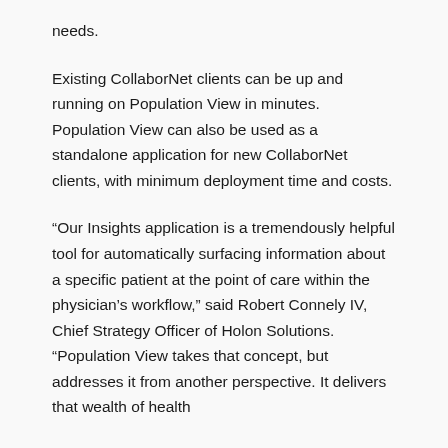needs.
Existing CollaborNet clients can be up and running on Population View in minutes. Population View can also be used as a standalone application for new CollaborNet clients, with minimum deployment time and costs.
“Our Insights application is a tremendously helpful tool for automatically surfacing information about a specific patient at the point of care within the physician’s workflow,” said Robert Connely IV, Chief Strategy Officer of Holon Solutions. “Population View takes that concept, but addresses it from another perspective. It delivers that wealth of health